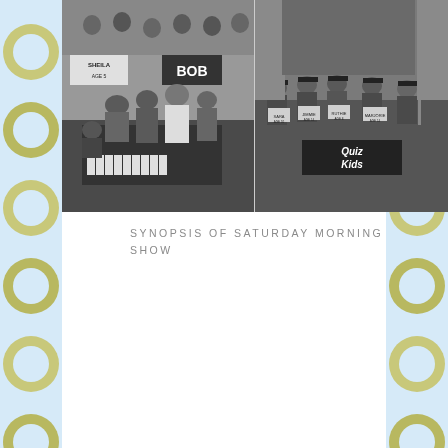[Figure (photo): Two black and white vintage photos side by side. Left photo shows children gathered around a piano with name signs reading SHEILA and BOB. Right photo shows children seated at a table wearing graduation caps with name signs, a banner reading 'Quiz Kids' visible on the table.]
SYNOPSIS OF SATURDAY MORNING SHOW